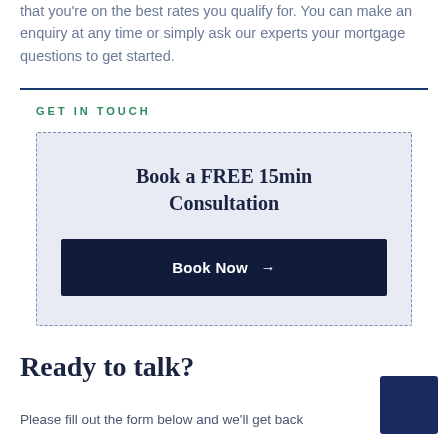that you're on the best rates you qualify for. You can make an enquiry at any time or simply ask our experts your mortgage questions to get started.
GET IN TOUCH
[Figure (infographic): Dashed-border card with light blue-grey background containing 'Book a FREE 15min Consultation' heading and a dark navy 'Book Now →' button]
Ready to talk?
Please fill out the form below and we'll get back